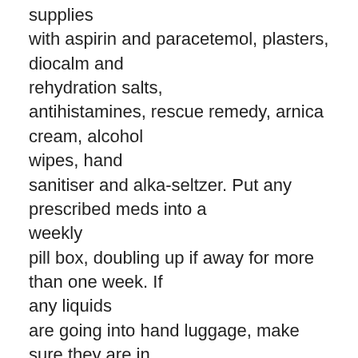supplies with aspirin and paracetemol, plasters, diocalm and rehydration salts, antihistamines, rescue remedy, arnica cream, alcohol wipes, hand sanitiser and alka-seltzer. Put any prescribed meds into a weekly pill box, doubling up if away for more than one week. If any liquids are going into hand luggage, make sure they are in containers less than 100ml, in a clear plastic bag.
BODY BEAUTIFUL
A few weeks before departure, do a toning exercise regime. This year I am doing Jillian Michaels Ripped In 30. Banish pale limbs by using